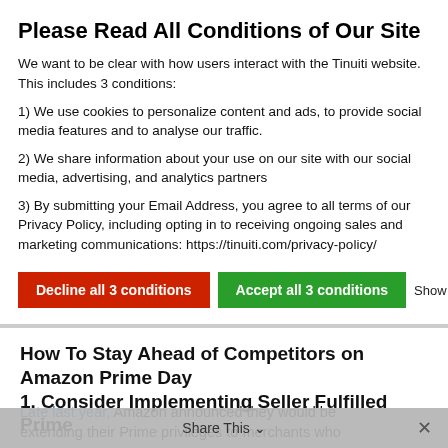Please Read All Conditions of Our Site
We want to be clear with how users interact with the Tinuiti website. This includes 3 conditions:
1) We use cookies to personalize content and ads, to provide social media features and to analyse our traffic.
2) We share information about your use on our site with our social media, advertising, and analytics partners
3) By submitting your Email Address, you agree to all terms of our Privacy Policy, including opting in to receiving ongoing sales and marketing communications: https://tinuiti.com/privacy-policy/
Decline all 3 conditions | Accept all 3 conditions | Show details
How To Stay Ahead of Competitors on Amazon Prime Day
1. Consider Implementing Seller Fulfilled Prime
Late last year, Amazon announced they would be extending their Prime privileges to merchants who